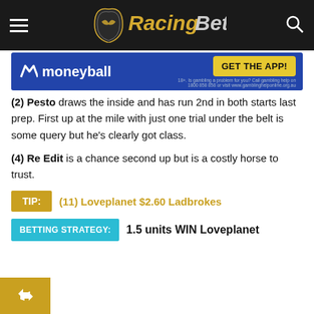RacingBet
[Figure (logo): Moneyball advertisement banner with GET THE APP! button]
(2) Pesto draws the inside and has run 2nd in both starts last prep. First up at the mile with just one trial under the belt is some query but he's clearly got class.
(4) Re Edit is a chance second up but is a costly horse to trust.
TIP: (11) Loveplanet $2.60 Ladbrokes
BETTING STRATEGY: 1.5 units WIN Loveplanet